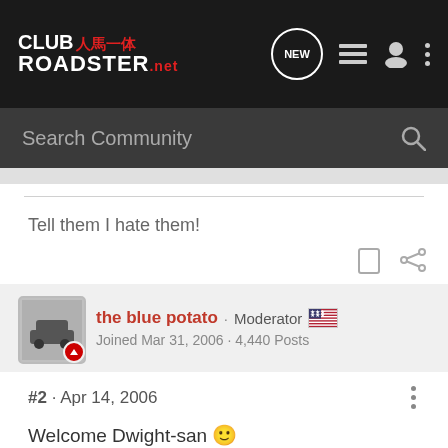CLUB人馬一体 ROADSTER.net
Search Community
Tell them I hate them!
the blue potato · Moderator
Joined Mar 31, 2006 · 4,440 Posts
#2 · Apr 14, 2006
Welcome Dwight-san 🙂